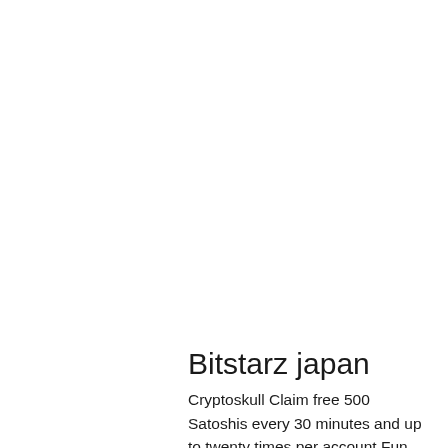Bitstarz japan
Cryptoskull Claim free 500 Satoshis every 30 minutes and up to twenty times per account Fun CryptoGames Free 0, bitstarz japan. All Players can receive funds on their account